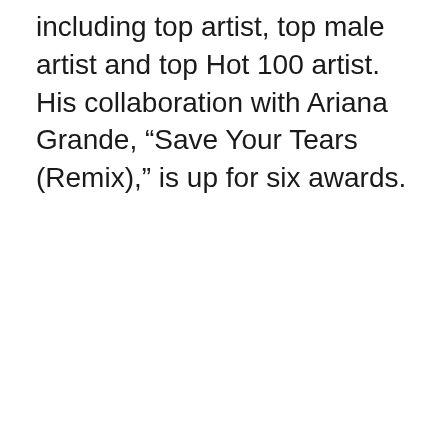including top artist, top male artist and top Hot 100 artist. His collaboration with Ariana Grande, “Save Your Tears (Remix),” is up for six awards.